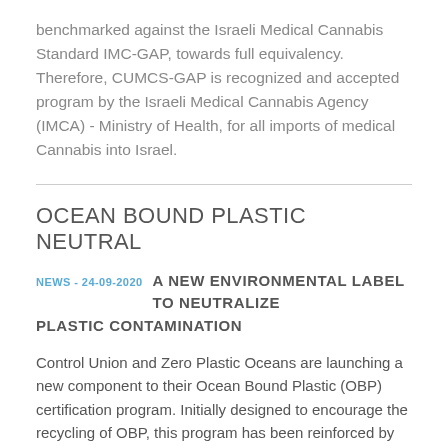benchmarked against the Israeli Medical Cannabis Standard IMC-GAP, towards full equivalency. Therefore, CUMCS-GAP is recognized and accepted program by the Israeli Medical Cannabis Agency (IMCA) - Ministry of Health, for all imports of medical Cannabis into Israel.
OCEAN BOUND PLASTIC NEUTRAL
NEWS - 24-09-2020   A NEW ENVIRONMENTAL LABEL TO NEUTRALIZE PLASTIC CONTAMINATION
Control Union and Zero Plastic Oceans are launching a new component to their Ocean Bound Plastic (OBP) certification program. Initially designed to encourage the recycling of OBP, this program has been reinforced by the